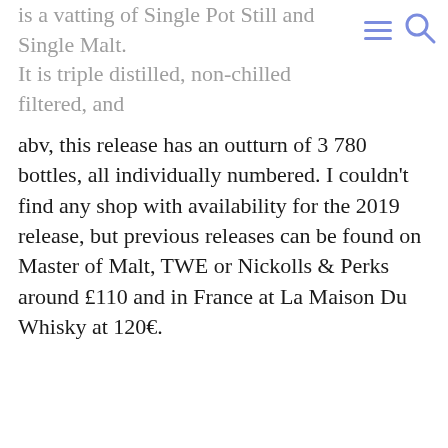is a vatting of Single Pot Still and Single Malt. It is triple distilled, non-chilled filtered, and matured in ex-bourbon barrels. Bottled at 53%
abv, this release has an outturn of 3 780 bottles, all individually numbered. I couldn't find any shop with availability for the 2019 release, but previous releases can be found on Master of Malt, TWE or Nickolls & Perks around £110 and in France at La Maison Du Whisky at 120€.